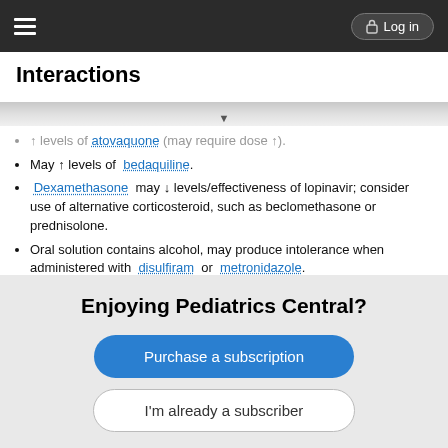Interactions | Log in
Interactions
↑ levels of atovaquone (may require dose ↑).
May ↑ levels of bedaquiline.
Dexamethasone may ↓ levels/effectiveness of lopinavir; consider use of alternative corticosteroid, such as beclomethasone or prednisolone.
Oral solution contains alcohol, may produce intolerance when administered with disulfiram or metronidazole.
May ↑ levels and risk of toxicity with immunosuppressants including cyclosporine, tacrolimus, or sirolimus (blood level monitoring recommended).
May ↓ levels and effects of methadone (dose of methadone may need to be ↑).
Enjoying Pediatrics Central?
Purchase a subscription
I'm already a subscriber